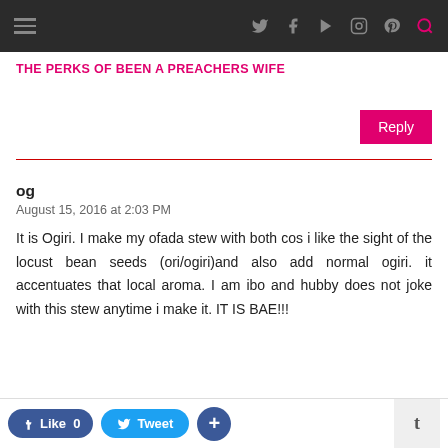THE PERKS OF BEEN A PREACHERS WIFE
og
August 15, 2016 at 2:03 PM
It is Ogiri. I make my ofada stew with both cos i like the sight of the locust bean seeds (ori/ogiri)and also add normal ogiri. it accentuates that local aroma. I am ibo and hubby does not joke with this stew anytime i make it. IT IS BAE!!!